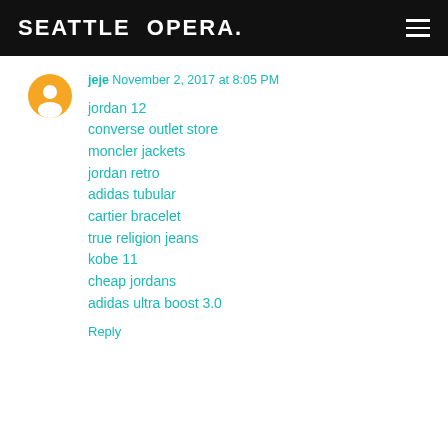SEATTLE OPERA.
jeje November 2, 2017 at 8:05 PM
jordan 12
converse outlet store
moncler jackets
jordan retro
adidas tubular
cartier bracelet
true religion jeans
kobe 11
cheap jordans
adidas ultra boost 3.0
Reply